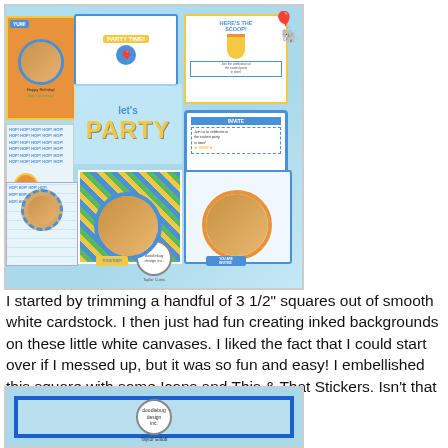[Figure (photo): Colorful scrapbook layout page with 'LET'S PARTY' theme on light blue background, featuring multiple photo tiles, decorative stickers, monkey illustrations, birthday elements, and circular photo frames]
I started by trimming a handful of 3 1/2" squares out of smooth white cardstock. I then just had fun creating inked backgrounds on these little white canvases. I liked the fact that I could start over if I messed up, but it was so fun and easy! I embellished this square with some Icons and This & That Stickers. Isn't that little elephant the cutest?!
[Figure (photo): Partial view of another scrapbook layout page on light blue background with blue border frame and circular logo/seal in center]